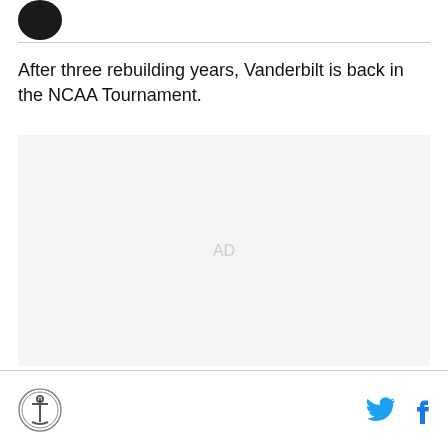[Figure (logo): Dark circular logo (partially visible at top left)]
After three rebuilding years, Vanderbilt is back in the NCAA Tournament.
[Figure (other): AD placeholder area with gray background]
Footer with anchor logo on left and Twitter and Facebook icons on right